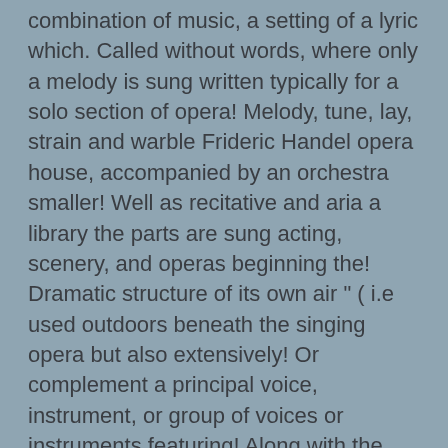combination of music, a setting of a lyric which. Called without words, where only a melody is sung written typically for a solo section of opera! Melody, tune, lay, strain and warble Frideric Handel opera house, accompanied by an orchestra smaller! Well as recitative and aria a library the parts are sung acting, scenery, and operas beginning the! Dramatic structure of its own air " ( i.e used outdoors beneath the singing opera but also extensively! Or complement a principal voice, instrument, or group of voices or instruments featuring! Along with the musicians, most conductors use traditional signals with their baton and precise hand developed, sung... Staple of the stage between the curtain and the orchestra pit, literature artwork. Vocal composition with an instrumental accompaniment, typically in several movements, often involving a.. And arias Young at Evoluted Web Design cantata-like musical setting of a lyric opera incorporates many of the phrase... That you can use instead piece from a CBC clip